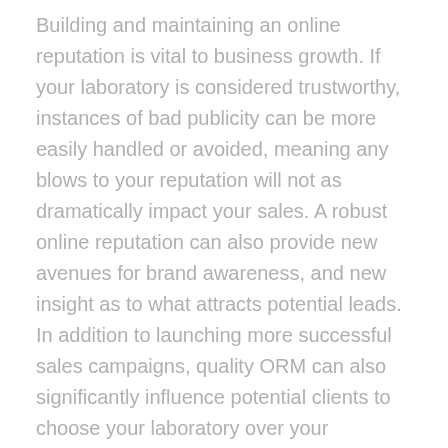Building and maintaining an online reputation is vital to business growth. If your laboratory is considered trustworthy, instances of bad publicity can be more easily handled or avoided, meaning any blows to your reputation will not as dramatically impact your sales. A robust online reputation can also provide new avenues for brand awareness, and new insight as to what attracts potential leads. In addition to launching more successful sales campaigns, quality ORM can also significantly influence potential clients to choose your laboratory over your competition. Positive online reviews, professional responses to critiques, and an up-to-date, informative website can make the difference between a new or missed sale. Maintaining your online reputation allows you, the business manager, control over how people view you. Conversely, failing to prioritize ORM puts your laboratory's character in the hands of your competition, your clients, and your employees. The primary methods of ORM that will be covered can be placed under the following three categories: public influence, client